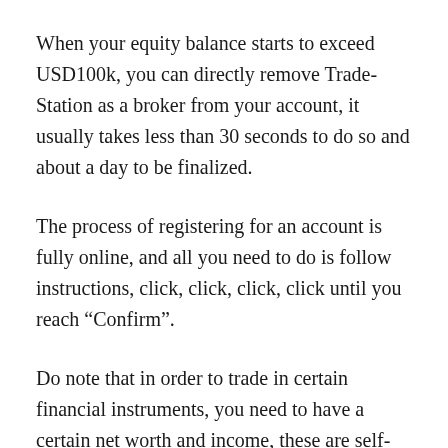When your equity balance starts to exceed USD100k, you can directly remove Trade-Station as a broker from your account, it usually takes less than 30 seconds to do so and about a day to be finalized.
The process of registering for an account is fully online, and all you need to do is follow instructions, click, click, click, click until you reach “Confirm”.
Do note that in order to trade in certain financial instruments, you need to have a certain net worth and income, these are self-declared. Its up to you to be as honest as you want.